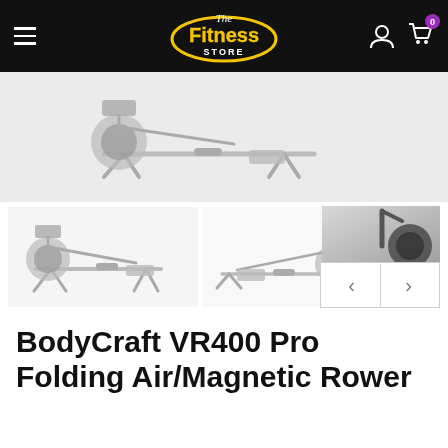The Fitness Store — navigation header with hamburger menu, logo, user icon, and cart icon
[Figure (photo): Main product image area showing BodyCraft VR400 Pro rower — light gray background product showcase area]
[Figure (photo): Thumbnail strip with three product photos of the BodyCraft VR400 Pro Folding Air/Magnetic Rower from different angles, plus navigation arrows]
BodyCraft VR400 Pro Folding Air/Magnetic Rower